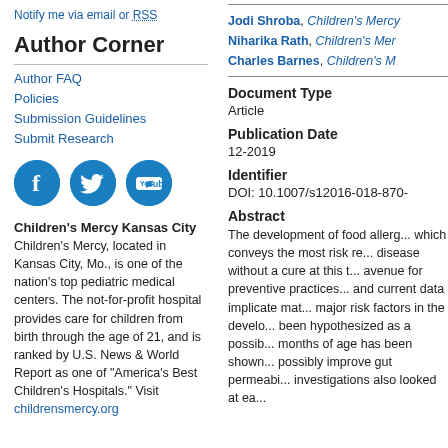Notify me via email or RSS
Author Corner
Author FAQ
Policies
Submission Guidelines
Submit Research
[Figure (illustration): Three social media icons: Facebook, Twitter, YouTube]
Children's Mercy Kansas City
Children's Mercy, located in Kansas City, Mo., is one of the nation's top pediatric medical centers. The not-for-profit hospital provides care for children from birth through the age of 21, and is ranked by U.S. News & World Report as one of "America's Best Children's Hospitals." Visit childrensmercy.org
Jodi Shroba, Children's Mercy
Niharika Rath, Children's Mer...
Charles Barnes, Children's M...
Document Type
Article
Publication Date
12-2019
Identifier
DOI: 10.1007/s12016-018-870-
Abstract
The development of food allerg... which conveys the most risk re... disease without a cure at this t... avenue for preventive practices... and current data implicate mat... major risk factors in the develo... been hypothesized as a possib... months of age has been shown... possibly improve gut permeabi... investigations also looked at ea...